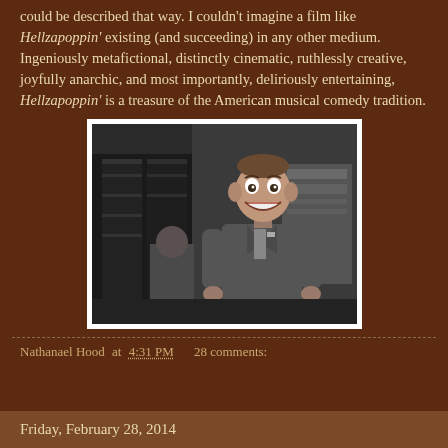could be described that way. I couldn't imagine a film like Hellzapoppin' existing (and succeeding) in any other medium. Ingeniously metafictional, distinctly cinematic, ruthlessly creative, joyfully anarchic, and most importantly, deliriously entertaining, Hellzapoppin' is a treasure of the American musical comedy tradition.
[Figure (photo): Black and white still from the film Hellzapoppin' showing a smiling man in a suit standing in a room with a folding screen and other figures in the background.]
Nathanael Hood at 4:31 PM   28 comments:
Friday, February 28, 2014